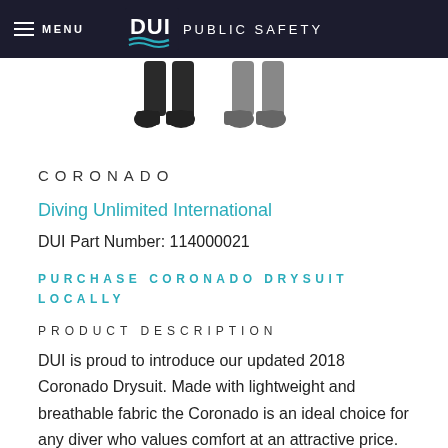MENU | DUI PUBLIC SAFETY
[Figure (illustration): Two drysuit figures shown from legs/boots down, one black suit and one gray suit]
CORONADO
Diving Unlimited International
DUI Part Number: 114000021
PURCHASE CORONADO DRYSUIT LOCALLY
PRODUCT DESCRIPTION
DUI is proud to introduce our updated 2018 Coronado Drysuit. Made with lightweight and breathable fabric the Coronado is an ideal choice for any diver who values comfort at an attractive price. Weighing less than a